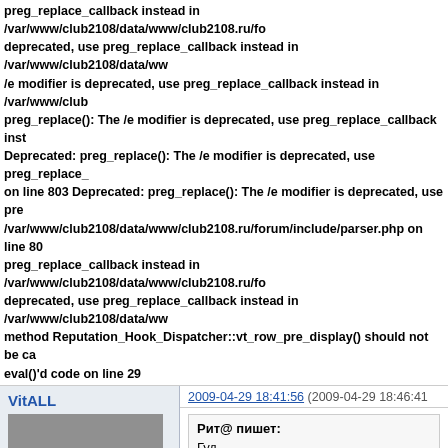preg_replace_callback instead in /var/www/club2108/data/www/club2108.ru/fo deprecated, use preg_replace_callback instead in /var/www/club2108/data/ww /e modifier is deprecated, use preg_replace_callback instead in /var/www/club preg_replace(): The /e modifier is deprecated, use preg_replace_callback inst Deprecated: preg_replace(): The /e modifier is deprecated, use preg_replace_ on line 803 Deprecated: preg_replace(): The /e modifier is deprecated, use pre /var/www/club2108/data/www/club2108.ru/forum/include/parser.php on line 80 preg_replace_callback instead in /var/www/club2108/data/www/club2108.ru/fo deprecated, use preg_replace_callback instead in /var/www/club2108/data/ww method Reputation_Hook_Dispatcher::vt_row_pre_display() should not be ca eval()'d code on line 29
VitALL
[Figure (photo): Photo of a dark-colored car (appears to be a VAZ/Lada) parked on a light surface]
Пользователь
Оффлайн
Зарегистрирован: 2009-04-15
Сообщений: 32
Репутация : [ 0 | 0 ]
2009-04-29 18:41:56 (2009-04-29 18:46:41
Рит@ пишет:
Гуд
Не гуд. Пожалей капот.
Кстати, оптика присмотрелся - оказыва стоит, вниз опускается, и получается да моргать)!!!